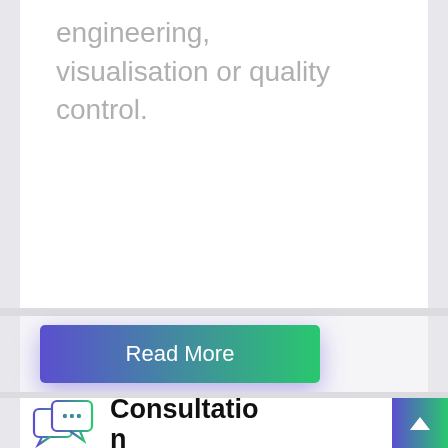engineering, visualisation or quality control.
Read More
[Figure (illustration): Two overlapping speech bubble chat icons with ellipsis dots, outlined in blue-green gradient style]
Consultation
We are here to “step into your shoes”. We’ll support your team to